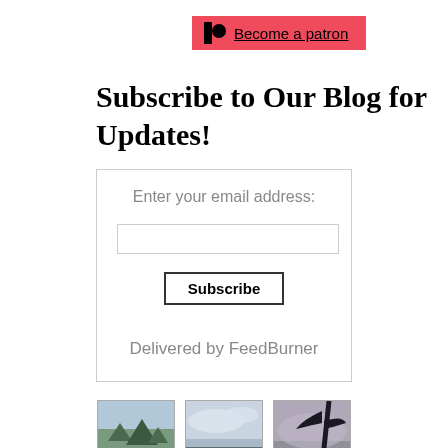[Figure (logo): Patreon button with logo icon and 'Become a patron' link on red background]
Subscribe to Our Blog for Updates!
Enter your email address:
Subscribe
Delivered by FeedBurner
[Figure (photo): Three landscape photos showing mountains with trees, cloudy sky, and tree silhouette against sky]
[Figure (photo): Cloudy sky landscape photo]
[Figure (photo): Tree silhouette against sky photo]